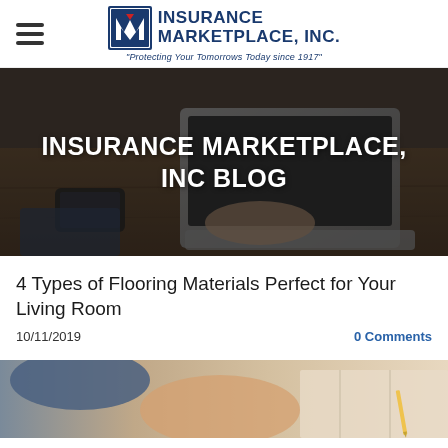[Figure (logo): Insurance Marketplace, Inc. logo with 'M' icon and tagline 'Protecting Your Tomorrows Today since 1917']
[Figure (photo): Hero banner photo of person typing on laptop on wooden desk with smartphone and tablet in background, dark overlay with white text 'INSURANCE MARKETPLACE, INC BLOG']
INSURANCE MARKETPLACE, INC BLOG
4 Types of Flooring Materials Perfect for Your Living Room
10/11/2019
0 Comments
[Figure (photo): Partial bottom image showing person examining flooring samples]